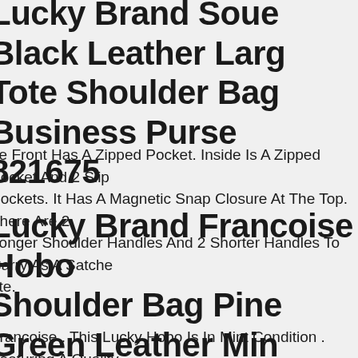Lucky Brand Soue Black Leather Large Tote Shoulder Bag Business Purse 821675
he Front Has A Zipped Pocket. Inside Is A Zipped Pocket And 2 Slip Pockets. It Has A Magnetic Snap Closure At The Top. There Are 2 Longer Shoulder Handles And 2 Shorter Handles To Carry As A Satchel Tote.
Lucky Brand Francoise Hobo Shoulder Bag Pine Green Leather Min $189.00
Francoise . This Lucky Hobo Is In Mint Condition . Featuring A Quality Full-grain Leather Exterior With Contrast Stitching And Stylish Woven Leather Trim Along Side Seams. Woven Leather Trim Along Side.